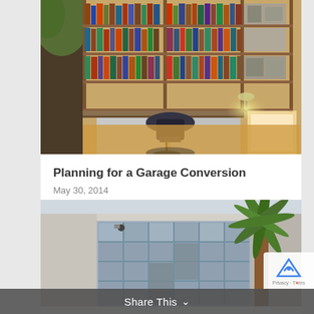[Figure (photo): Interior photo of a converted garage home office with floor-to-ceiling bookshelves filled with books and media, a large desk with office chair and lamp, warm lighting from a window on the right.]
Planning for a Garage Conversion
May 30, 2014
[Figure (photo): Exterior photo of a modern building with a large glass-panel garage door, palm trees visible in background, light gray stucco exterior.]
Share This